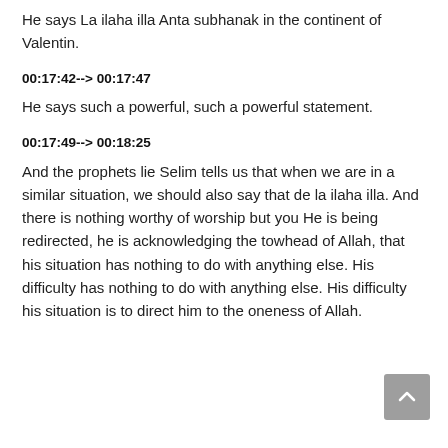He says La ilaha illa Anta subhanak in the continent of Valentin.
00:17:42--> 00:17:47
He says such a powerful, such a powerful statement.
00:17:49--> 00:18:25
And the prophets lie Selim tells us that when we are in a similar situation, we should also say that de la ilaha illa. And there is nothing worthy of worship but you He is being redirected, he is acknowledging the towhead of Allah, that his situation has nothing to do with anything else. His difficulty has nothing to do with anything else. His difficulty his situation is to direct him to the oneness of Allah.